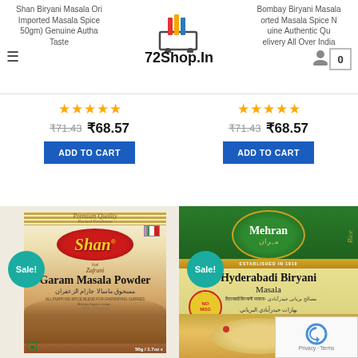72Shop.In
Shan Biryani Masala Ori Imported Masala Spice 50gm) Genuine Autha Taste
Bombay Biryani Masala orted Masala Spice N uine Authentic Qu elivery All Over India
★★★★★ ₹71.43 ₹68.57 ADD TO CART
★★★★★ ₹71.43 ₹68.57 ADD TO CART
[Figure (photo): Shan Garam Masala Powder product box with Sale! badge, 50g/1.7oz]
[Figure (photo): Mehran Hyderabadi Biryani Masala product box with Sale! badge and NO MSG seal]